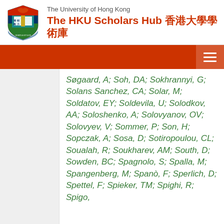The University of Hong Kong — The HKU Scholars Hub 香港大學學術庫
Søgaard, A; Soh, DA; Sokhrannyi, G; Solans Sanchez, CA; Solar, M; Soldatov, EY; Soldevila, U; Solodkov, AA; Soloshenko, A; Solovyanov, OV; Solovyev, V; Sommer, P; Son, H; Sopczak, A; Sosa, D; Sotiropoulou, CL; Soualah, R; Soukharev, AM; South, D; Sowden, BC; Spagnolo, S; Spalla, M; Spangenberg, M; Spanò, F; Sperlich, D; Spettel, F; Spieker, TM; Spighi, R; Spigo, …